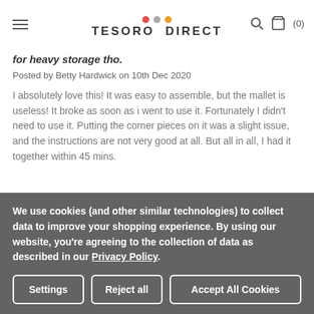TESORO DIRECT
for heavy storage tho.
Posted by Betty Hardwick on 10th Dec 2020
I absolutely love this! It was easy to assemble, but the mallet is useless! It broke as soon as i went to use it. Fortunately I didn't need to use it. Putting the corner pieces on it was a slight issue, and the instructions are not very good at all. But all in all, I had it together within 45 mins.
★★★★★
We use cookies (and other similar technologies) to collect data to improve your shopping experience. By using our website, you're agreeing to the collection of data as described in our Privacy Policy.